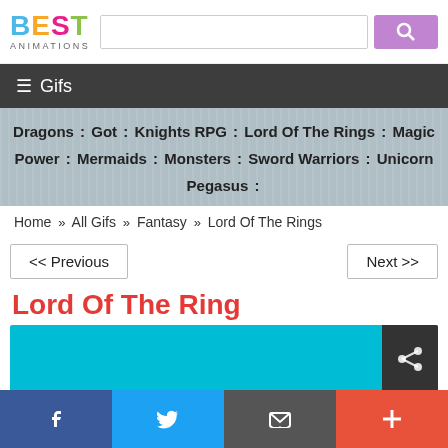BEST ANIMATIONS
≡ Gifs
Dragons : Got : Knights RPG : Lord Of The Rings : Magic Power : Mermaids : Monsters : Sword Warriors : Unicorn Pegasus :
Home » All Gifs » Fantasy » Lord Of The Rings
<< Previous    Next >>
Lord Of The Ring
[Figure (screenshot): Teal/cyan background image area with a dark share icon box in the top right corner]
Facebook  Twitter  Email  Plus social share bar